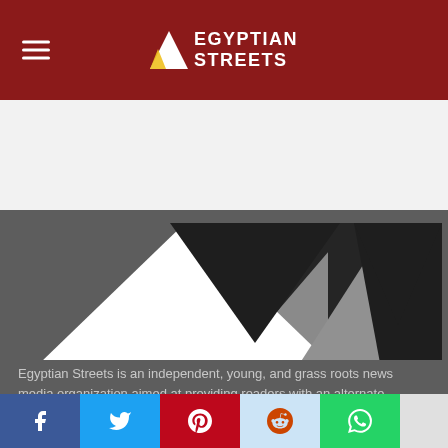Egyptian Streets
[Figure (logo): Egyptian Streets logo: geometric triangles (white pointing up, dark pointing down, grey pointing up, dark pointing down) with text 'EGYPTIAN STREETS' in white on dark red background]
[Figure (logo): Large Egyptian Streets logo triangles: white upward triangle, dark downward triangle, grey upward triangle, dark downward triangle arranged in a row on grey background]
Egyptian Streets is an independent, young, and grass roots news media organization aimed at providing readers with an alternate depiction of events that occur on Egyptian and Middle Eastern streets, and to establish an engaging social platform for readers to discover and discuss the various issues that impact the region.
About
[Figure (infographic): Social media share bar with icons: Facebook (dark blue), Twitter (light blue), Pinterest (red), Reddit (light blue), WhatsApp (green), and one more (grey)]